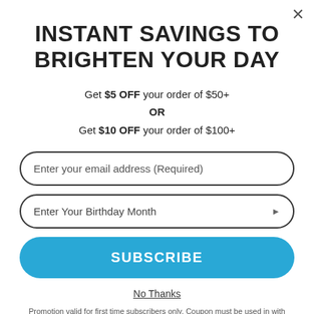INSTANT SAVINGS TO BRIGHTEN YOUR DAY
Get $5 OFF your order of $50+
OR
Get $10 OFF your order of $100+
Enter your email address (Required)
Enter Your Birthday Month
SUBSCRIBE
No Thanks
Promotion valid for first time subscribers only. Coupon must be used in with...